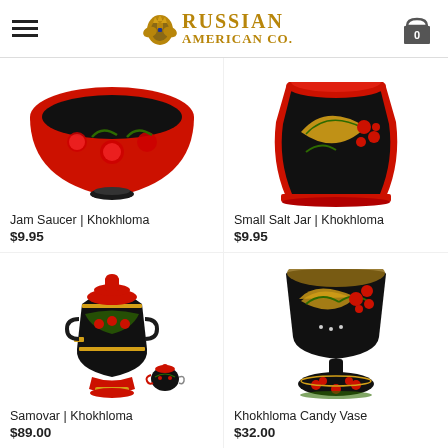Russian American Co. — navigation header with hamburger menu and cart
[Figure (photo): Khokhloma painted wooden Jam Saucer — red and black floral bowl, partially cropped at top]
Jam Saucer | Khokhloma
$9.95
[Figure (photo): Khokhloma painted wooden Small Salt Jar — red, black, and gold with leaves and berries, partially cropped at top]
Small Salt Jar | Khokhloma
$9.95
[Figure (photo): Khokhloma painted wooden Samovar with miniature teapot, red, black and green floral decoration]
Samovar | Khokhloma
$89.00
[Figure (photo): Khokhloma painted wooden Candy Vase — goblet shape, black with red berries and gold leaves]
Khokhloma Candy Vase
$32.00